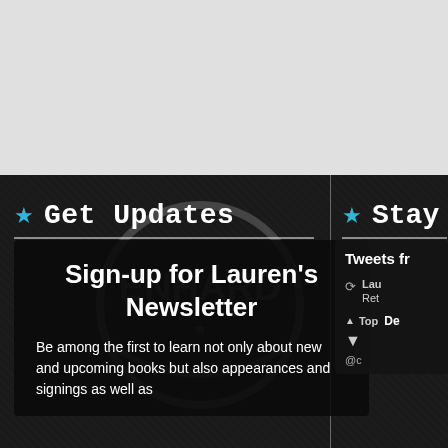[Figure (illustration): Top gray banner area, likely a website header image placeholder]
★ Get Updates
★ Stay
Sign-up for Lauren's Newsletter
Be among the first to learn not only about new and upcoming books but also appearances and signings as well as
[Figure (screenshot): Tweets fr... panel showing retweet icon, Lau... Ret... tweet excerpt, Top indicator, De... text, and @c... handle]